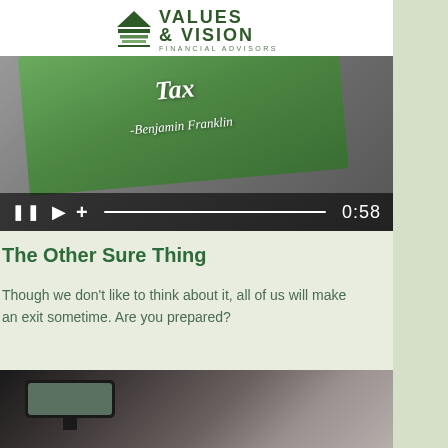Values & Vision Financial Advisors
[Figure (screenshot): Video player showing a tablet with a Benjamin Franklin tax quote on a green background. Controls show pause, play, volume icons, a progress bar, and timestamp 0:58]
The Other Sure Thing
Though we don't like to think about it, all of us will make an exit sometime. Are you prepared?
[Figure (photo): Photo of car interior viewed from back seat, showing rearview mirror with people in the background]